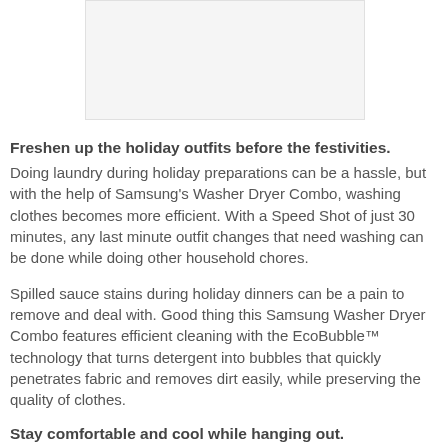[Figure (photo): Product image placeholder (white/light gray box)]
Freshen up the holiday outfits before the festivities.
Doing laundry during holiday preparations can be a hassle, but with the help of Samsung's Washer Dryer Combo, washing clothes becomes more efficient. With a Speed Shot of just 30 minutes, any last minute outfit changes that need washing can be done while doing other household chores.
Spilled sauce stains during holiday dinners can be a pain to remove and deal with. Good thing this Samsung Washer Dryer Combo features efficient cleaning with the EcoBubble™ technology that turns detergent into bubbles that quickly penetrates fabric and removes dirt easily, while preserving the quality of clothes.
Stay comfortable and cool while hanging out.
Nothing beats the holidays when it's spent comfortably with loved ones. Celebrate a cool and safe holiday with the Samsung Basic S-Inverter Air Conditioner. This air